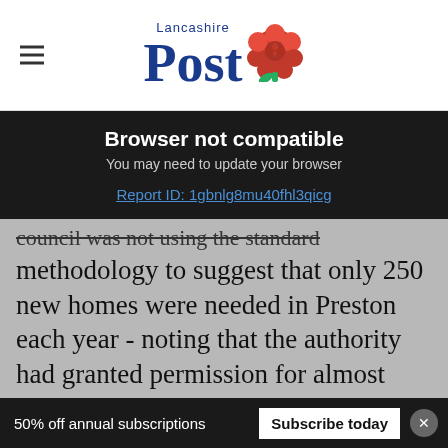[Figure (logo): Lancashire Post newspaper logo with red rose icon]
Browser not compatible
You may need to update your browser
Report ID: 1gbnlg8mu40fhl3qicg
council was not using the standard methodology to suggest that only 250 new homes were needed in Preston each year - noting that the authority had granted permission for almost 5,000 properties in just the last two years.
“So a suggestion that the council isn’t doing it
50% off annual subscriptions
Subscribe today